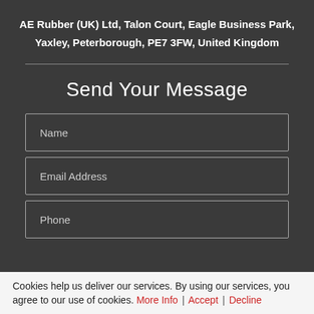AE Rubber (UK) Ltd, Talon Court, Eagle Business Park, Yaxley, Peterborough, PE7 3FW, United Kingdom
Send Your Message
Name
Email Address
Phone
Cookies help us deliver our services. By using our services, you agree to our use of cookies. More Info | Accept | Decline